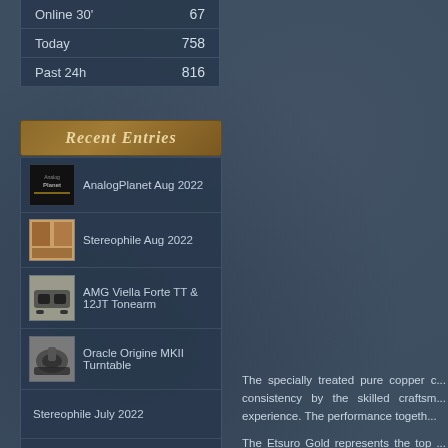|  |  |
| --- | --- |
| Online 30' | 67 |
| Today | 758 |
| Past 24h | 816 |
Recent Entries
AnalogPlanet Aug 2022
Stereophile Aug 2022
AMG Viella Forte TT & 12JT Tonearm
Oracle Origine MKII Turntable
Stereophile July 2022
The specially treated pure copper c... consistency by the skilled craftsm... experience. The performance togeth...
The Etsuro Gold represents the top ... audiophiles around the world. Faith...